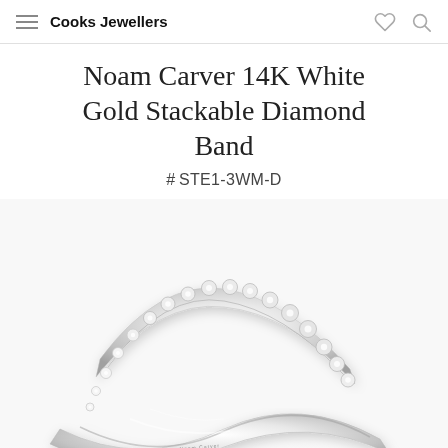Cooks Jewellers
Noam Carver 14K White Gold Stackable Diamond Band
#STE1-3WM-D
[Figure (photo): Close-up photo of a Noam Carver 14K white gold stackable diamond band ring, showing a curved wave-shaped band encrusted with round diamonds along the upper arc, on a white background.]